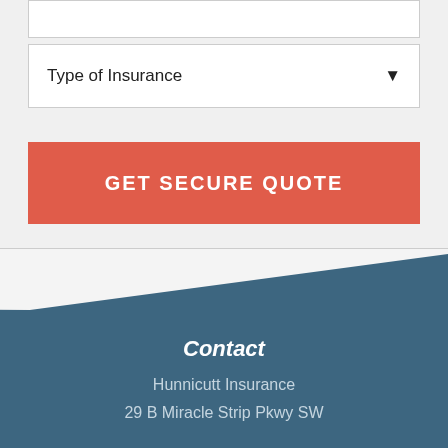Type of Insurance
GET SECURE QUOTE
Contact
Hunnicutt Insurance
29 B Miracle Strip Pkwy SW